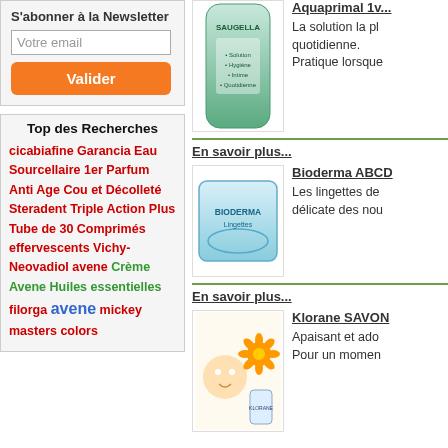S'abonner à la Newsletter
Votre email
Valider
Top des Recherches
cicabiafine Garancia Eau Sourcellaire 1er Parfum Anti Age Cou et Décolleté Steradent Triple Action Plus Tube de 30 Comprimés effervescents Vichy-Neovadiol avene Crème Avene Huiles essentielles filorga avene mickey masters colors
[Figure (photo): Saugella product package - green/teal colored bag]
La solution la plus adaptée à l'hygiène intime quotidienne. Pratique lorsque
En savoir plus...
[Figure (photo): Bioderma ABCD wipes package - light blue colored box]
Bioderma ABCD
Les lingettes de nettoyage pour la peau délicate des nou
En savoir plus...
[Figure (photo): Klorane SAVON - baby with orange flower and product bottle]
Klorane SAVON
Apaisant et ado Pour un momen